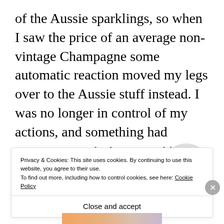of the Aussie sparklings, so when I saw the price of an average non-vintage Champagne some automatic reaction moved my legs over to the Aussie stuff instead. I was no longer in control of my actions, and something had drowned out my wife’s request.
[Figure (screenshot): Partial advertisement banner showing 'and a better world.' text in bold with an Apply button and a circular photo of a person]
Privacy & Cookies: This site uses cookies. By continuing to use this website, you agree to their use.
To find out more, including how to control cookies, see here: Cookie Policy
Close and accept